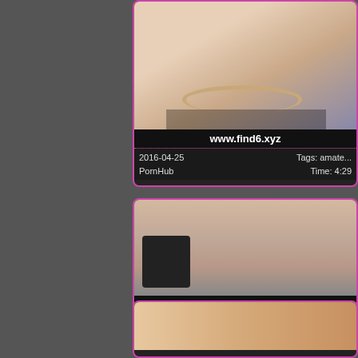[Figure (screenshot): Video thumbnail card 1 with image placeholder showing skin tones, URL bar showing www.find6.xyz, date 2016-04-25, source PornHub, Tags: amate..., Time: 4:29]
[Figure (screenshot): Video thumbnail card 2 with image of person, title 'She's the one fu...', date 2017-11-13, source Beeg, Tags: ass, b..., Time: 10:00]
[Figure (screenshot): Partial video thumbnail card 3 visible at bottom of page]